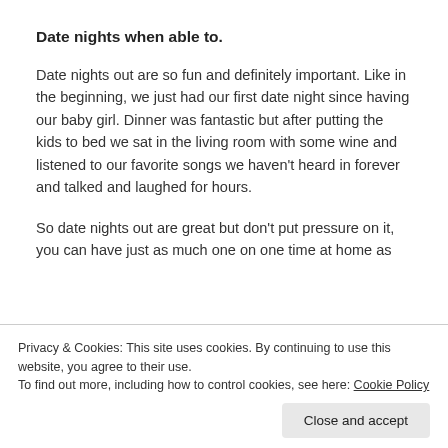Date nights when able to.
Date nights out are so fun and definitely important. Like in the beginning, we just had our first date night since having our baby girl. Dinner was fantastic but after putting the kids to bed we sat in the living room with some wine and listened to our favorite songs we haven’t heard in forever and talked and laughed for hours.
So date nights out are great but don’t put pressure on it, you can have just as much one on one time at home as
Privacy & Cookies: This site uses cookies. By continuing to use this website, you agree to their use.
To find out more, including how to control cookies, see here: Cookie Policy
I thought maybe this could relate to others as well. My